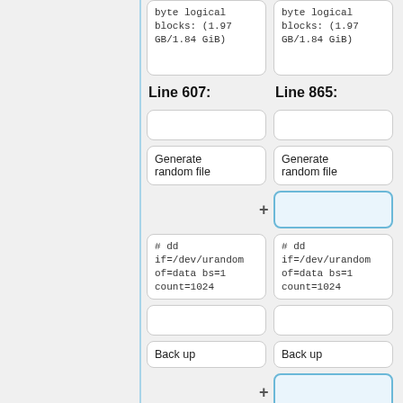byte logical blocks: (1.97 GB/1.84 GiB)
byte logical blocks: (1.97 GB/1.84 GiB)
Line 607:
Line 865:
Generate random file
Generate random file
# dd if=/dev/urandom of=data bs=1 count=1024
# dd if=/dev/urandom of=data bs=1 count=1024
Back up
Back up
# dd if=/dev/sda of=backup bs=1
# dd if=/dev/sda of=backup bs=1